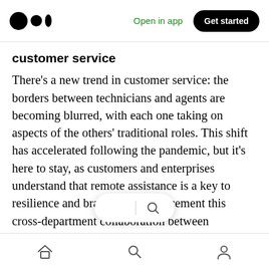Medium app header — Open in app | Get started
customer service
There's a new trend in customer service: the borders between technicians and agents are becoming blurred, with each one taking on aspects of the others' traditional roles. This shift has accelerated following the pandemic, but it's here to stay, as customers and enterprises understand that remote assistance is a key to resilience and brand loyalty. To cement this cross-department collaboration between customer service and technical support, enterprises must e… laborative KPIs, in…
Home | Search | Profile